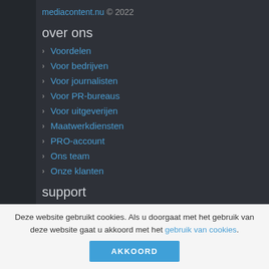mediacontent.nu © 2022
over ons
Voordelen
Voor bedrijven
Voor journalisten
Voor PR-bureaus
Voor uitgeverijen
Maatwerkdiensten
PRO-account
Ons team
Onze klanten
support
Welkom aan boord
Deze website gebruikt cookies. Als u doorgaat met het gebruik van deze website gaat u akkoord met het gebruik van cookies.